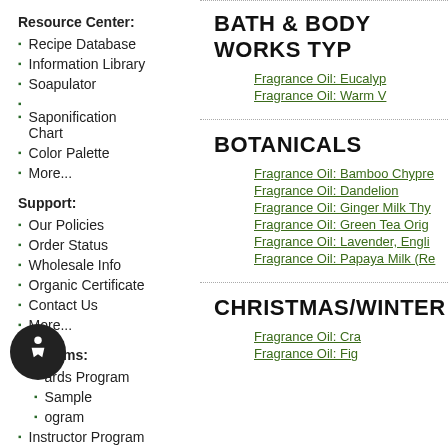Resource Center:
Recipe Database
Information Library
Soapulator
Saponification Chart
Color Palette
More...
Support:
Our Policies
Order Status
Wholesale Info
Organic Certificate
Contact Us
More...
Programs:
ards Program
Sample
ogram
Instructor Program
BATH & BODY WORKS TYP
Fragrance Oil: Eucalyp
Fragrance Oil: Warm V
BOTANICALS
Fragrance Oil: Bamboo Chypre
Fragrance Oil: Dandelion
Fragrance Oil: Ginger Milk Thy
Fragrance Oil: Green Tea Orig
Fragrance Oil: Lavender, Engli
Fragrance Oil: Papaya Milk (Re
CHRISTMAS/WINTER
Fragrance Oil: Cra
Fragrance Oil: Fig